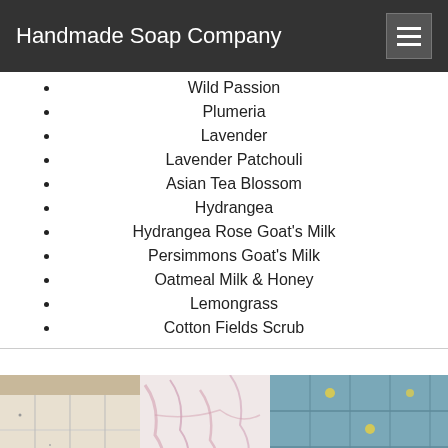Handmade Soap Company
Wild Passion
Plumeria
Lavender
Lavender Patchouli
Asian Tea Blossom
Hydrangea
Hydrangea Rose Goat's Milk
Persimmons Goat's Milk
Oatmeal Milk & Honey
Lemongrass
Cotton Fields Scrub
[Figure (photo): Photo of assorted handmade soap bars in various colors — white, pink/marbled, and blue/teal — stacked in rows, with bold black text overlay reading 'Assorted Bars']